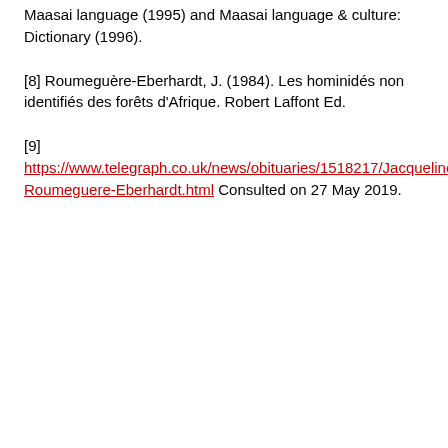Maasai language (1995) and Maasai language & culture: Dictionary (1996).
[8] Roumeguère-Eberhardt, J. (1984). Les hominidés non identifiés des forêts d'Afrique. Robert Laffont Ed.
[9] https://www.telegraph.co.uk/news/obituaries/1518217/Jacqueline-Roumeguere-Eberhardt.html Consulted on 27 May 2019.